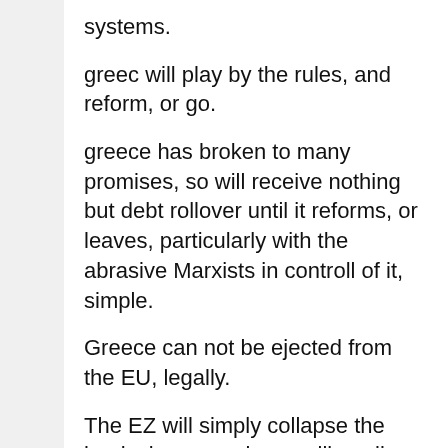systems.
greec will play by the rules, and reform, or go.
greece has broken to many promises, so will receive nothing but debt rollover until it reforms, or leaves, particularly with the abrasive Marxists in controll of it, simple.
Greece can not be ejected from the EU, legally.
The EZ will simply collapse the banks in greece by recalling all their loans on the 21 St july. Cut of the supply of Euros and wait for greece to beg to